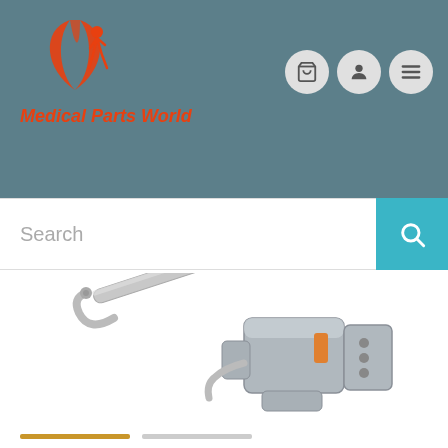[Figure (logo): Medical Parts World logo with orange flame/leaf SVG graphic above the text 'Medical Parts World' in red-orange italic font]
[Figure (screenshot): Website screenshot showing Medical Parts World e-commerce site header with logo, navigation icons (cart, user, menu), search bar, and a medical linear actuator/motor part product image]
[Figure (photo): Medical linear actuator/drive motor component with gray plastic housing, cable, and multi-pin connector]